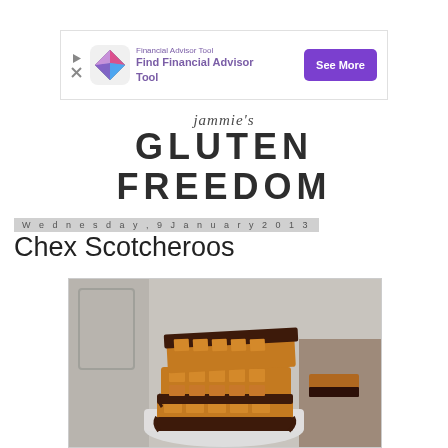[Figure (other): Advertisement banner: Financial Advisor Tool - Find Financial Advisor Tool, with a colorful gem/diamond icon, play and close icons, and a purple 'See More' button]
[Figure (logo): Jammie's Gluten Freedom blog logo - script 'jammie's' above bold 'GLUTEN FREEDOM']
Wednesday, 9 January 2013
Chex Scotcheroos
[Figure (photo): A stack of Chex Scotcheroos bars with chocolate topping on a white plate, three bars stacked on top of each other]